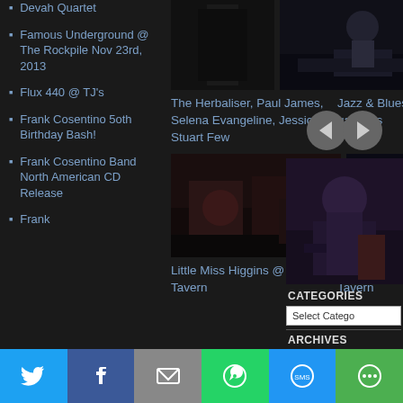Devah Quartet
Famous Underground @ The Rockpile Nov 23rd, 2013
Flux 440 @ TJ's
Frank Cosentino 5oth Birthday Bash!
Frank Cosentino Band North American CD Release
Frank
[Figure (photo): Dark silhouette photo]
[Figure (photo): Concert stage photo with drummer]
The Herbaliser, Paul James, Selena Evangeline, Jessica Stuart Few
Jazz & Blues festival galleries
[Figure (other): Navigation arrows left/right circle icons]
[Figure (photo): Musician playing guitar on stage]
CATEGORIES
Select Category
ARCHIVES
Select Month
[Figure (photo): Band performing at indoor venue - Little Miss Higgins @ Dakota Tavern]
[Figure (photo): Drummer on stage - Kandle at The Horseshoe Tavern]
Little Miss Higgins @ Dakota Tavern
Kandle at The Horseshoe Tavern